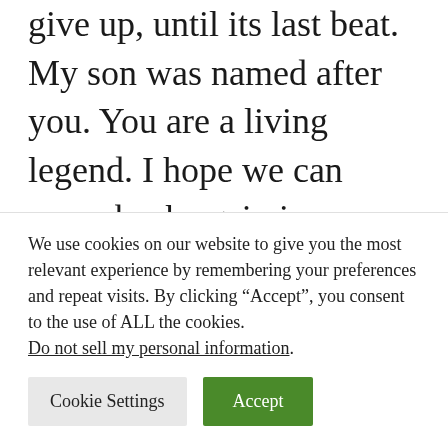give up, until its last beat. My son was named after you. You are a living legend. I hope we can come back again in your academy in menorca, we stay there for a couple of days in your hotel. We are amazed in your museum, we are so happy to see your achievements. Hope to see you continue playing, win or loose you still our
We use cookies on our website to give you the most relevant experience by remembering your preferences and repeat visits. By clicking “Accept”, you consent to the use of ALL the cookies. Do not sell my personal information.